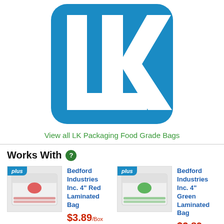[Figure (logo): LK Packaging logo — blue square with rounded bottom-left corner, white LK letters inside]
View all LK Packaging Food Grade Bags
Works With
[Figure (photo): Bedford Industries Inc. 4" Red Laminated Bag product box with red ties]
Bedford Industries Inc. 4" Red Laminated Bag $3.89/Box
[Figure (photo): Bedford Industries Inc. 4" Green Laminated Bag product box with green ties]
Bedford Industries Inc. 4" Green Laminated Bag $3.89/Box